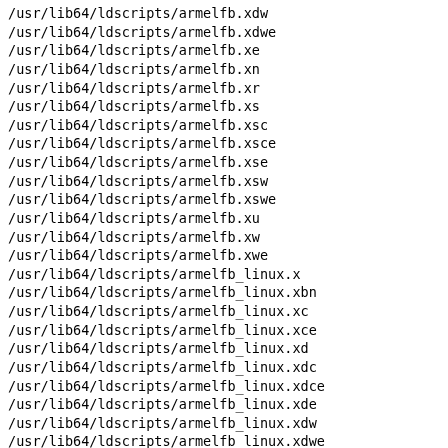/usr/lib64/ldscripts/armelfb.xdw
/usr/lib64/ldscripts/armelfb.xdwe
/usr/lib64/ldscripts/armelfb.xe
/usr/lib64/ldscripts/armelfb.xn
/usr/lib64/ldscripts/armelfb.xr
/usr/lib64/ldscripts/armelfb.xs
/usr/lib64/ldscripts/armelfb.xsc
/usr/lib64/ldscripts/armelfb.xsce
/usr/lib64/ldscripts/armelfb.xse
/usr/lib64/ldscripts/armelfb.xsw
/usr/lib64/ldscripts/armelfb.xswe
/usr/lib64/ldscripts/armelfb.xu
/usr/lib64/ldscripts/armelfb.xw
/usr/lib64/ldscripts/armelfb.xwe
/usr/lib64/ldscripts/armelfb_linux.x
/usr/lib64/ldscripts/armelfb_linux.xbn
/usr/lib64/ldscripts/armelfb_linux.xc
/usr/lib64/ldscripts/armelfb_linux.xce
/usr/lib64/ldscripts/armelfb_linux.xd
/usr/lib64/ldscripts/armelfb_linux.xdc
/usr/lib64/ldscripts/armelfb_linux.xdce
/usr/lib64/ldscripts/armelfb_linux.xde
/usr/lib64/ldscripts/armelfb_linux.xdw
/usr/lib64/ldscripts/armelfb_linux.xdwe
/usr/lib64/ldscripts/armelfb_linux.xe
/usr/lib64/ldscripts/armelfb_linux.xn
/usr/lib64/ldscripts/armelfb_linux.xr
/usr/lib64/ldscripts/armelfb_linux.xs
/usr/lib64/ldscripts/armelfb_linux.xsc
/usr/lib64/ldscripts/armelfb_linux.xsce